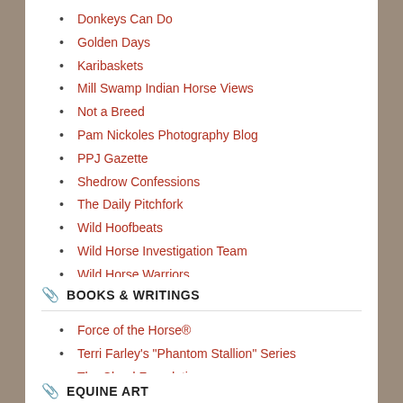Donkeys Can Do
Golden Days
Karibaskets
Mill Swamp Indian Horse Views
Not a Breed
Pam Nickoles Photography Blog
PPJ Gazette
Shedrow Confessions
The Daily Pitchfork
Wild Hoofbeats
Wild Horse Investigation Team
Wild Horse Warriors
BOOKS & WRITINGS
Force of the Horse®
Terri Farley's "Phantom Stallion" Series
The Cloud Foundation